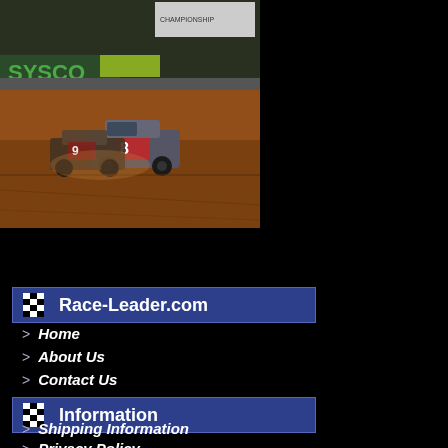[Figure (photo): A dirt track racing car (modified/street stock class) racing on a dirt oval track at night, with Sysco advertising banner visible in background. A sponsor logo banner is visible at the top right of the photo area.]
Race-Leader.com
> Home
> About Us
> Contact Us
Information
> Shipping Information
> Privacy Policy